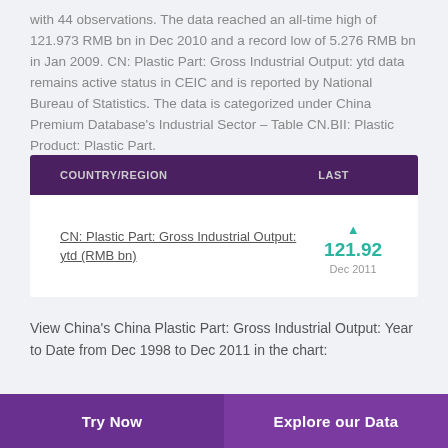with 44 observations. The data reached an all-time high of 121.973 RMB bn in Dec 2010 and a record low of 5.276 RMB bn in Jan 2009. CN: Plastic Part: Gross Industrial Output: ytd data remains active status in CEIC and is reported by National Bureau of Statistics. The data is categorized under China Premium Database's Industrial Sector – Table CN.BII: Plastic Product: Plastic Part.
| COUNTRY/REGION | LAST |
| --- | --- |
| CN: Plastic Part: Gross Industrial Output: ytd (RMB bn) | ▲ 121.92
Dec 2011 |
View China's China Plastic Part: Gross Industrial Output: Year to Date from Dec 1998 to Dec 2011 in the chart:
Try Now   Explore our Data